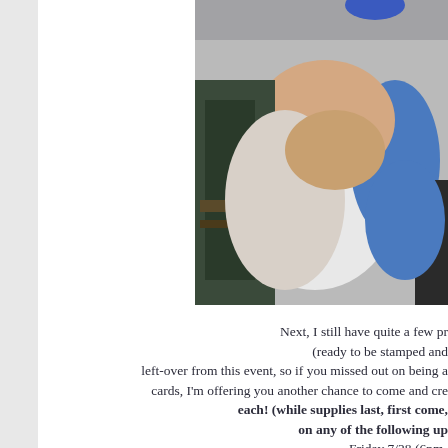[Figure (photo): Photo of people seated, one person wearing a white shirt and another in blue, partially cropped at right edge]
Next, I still have quite a few pr (ready to be stamped and left-over from this event, so if you missed out on being a cards, I'm offering you another chance to come and cre each! (while supplies last, first come, on any of the following up Friday 7/28 (6pm- Saturday 7/29 (1pm Sunday 7/30 (1pm- Monday 7/31 (9am- Monday 8/7 (9am-